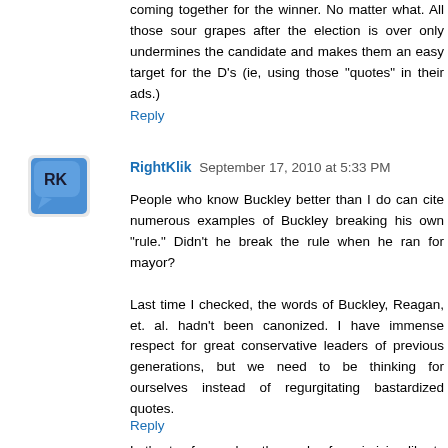coming together for the winner. No matter what. All those sour grapes after the election is over only undermines the candidate and makes them an easy target for the D's (ie, using those "quotes" in their ads.)
Reply
[Figure (illustration): RK avatar icon - blue speech bubble with RK letters]
RightKlik September 17, 2010 at 5:33 PM
People who know Buckley better than I do can cite numerous examples of Buckley breaking his own "rule." Didn't he break the rule when he ran for mayor?

Last time I checked, the words of Buckley, Reagan, et. al. hadn't been canonized. I have immense respect for great conservative leaders of previous generations, but we need to be thinking for ourselves instead of regurgitating bastardized quotes.

Let's stay focused on the goals of maximizing liberty and minimizing statism.
Reply